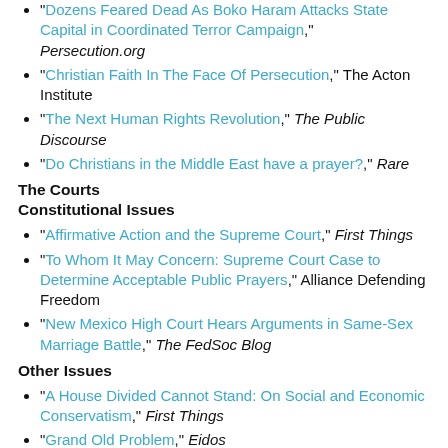"Dozens Feared Dead As Boko Haram Attacks State Capital in Coordinated Terror Campaign," Persecution.org
"Christian Faith In The Face Of Persecution," The Acton Institute
"The Next Human Rights Revolution," The Public Discourse
"Do Christians in the Middle East have a prayer?," Rare
The Courts
Constitutional Issues
"Affirmative Action and the Supreme Court," First Things
"To Whom It May Concern: Supreme Court Case to Determine Acceptable Public Prayers," Alliance Defending Freedom
"New Mexico High Court Hears Arguments in Same-Sex Marriage Battle," The FedSoc Blog
Other Issues
"A House Divided Cannot Stand: On Social and Economic Conservatism," First Things
"Grand Old Problem," Eidos